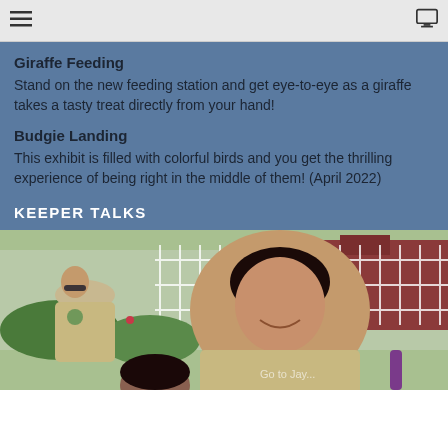menu | monitor icon
Giraffe Feeding
Stand on the new feeding station and get eye-to-eye as a giraffe takes a tasty treat directly from your hand!
Budgie Landing
This exhibit is filled with colorful birds and you get the thrilling experience of being right in the middle of them! (April 2022)
KEEPER TALKS
[Figure (photo): Two zoo keepers in beige uniforms outdoors, smiling, with a white fence and red barn in the background and flowers visible. A child's head is visible at the bottom.]